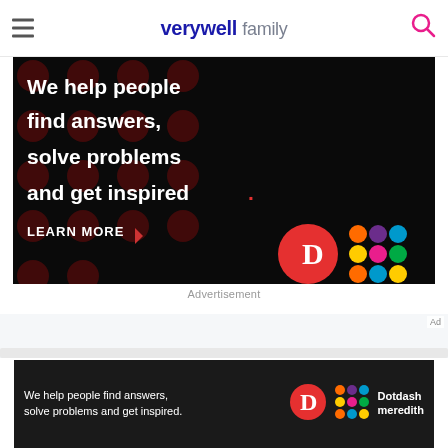verywell family
[Figure (screenshot): Advertisement banner with dark background and dark red polka dots. White bold text reads 'We help people find answers, solve problems and get inspired.' with 'LEARN MORE' button and Dotdash Meredith logos.]
Advertisement
[Figure (photo): Baby crib with white frame and light blue vertical slat skirt, partially visible.]
Ad
[Figure (screenshot): Bottom banner ad: dark background with text 'We help people find answers, solve problems and get inspired.' and Dotdash Meredith logo.]